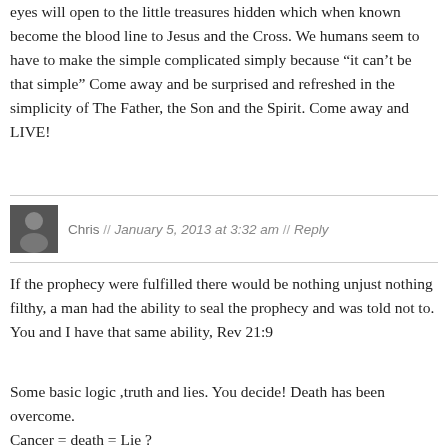eyes will open to the little treasures hidden which when known become the blood line to Jesus and the Cross. We humans seem to have to make the simple complicated simply because “it can’t be that simple” Come away and be surprised and refreshed in the simplicity of The Father, the Son and the Spirit. Come away and LIVE!
Chris // January 5, 2013 at 3:32 am // Reply
If the prophecy were fulfilled there would be nothing unjust nothing filthy, a man had the ability to seal the prophecy and was told not to. You and I have that same ability, Rev 21:9
Some basic logic ,truth and lies. You decide! Death has been overcome.
Cancer = death = Lie ?
Your treasure is in Heaven.